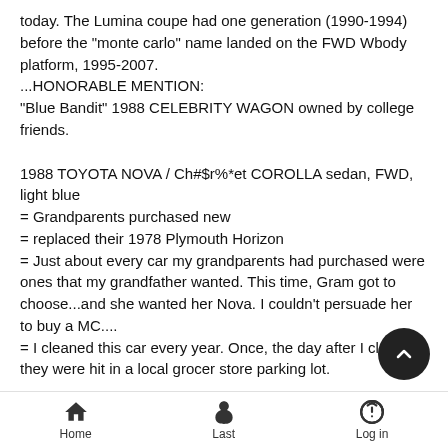today. The Lumina coupe had one generation (1990-1994) before the "monte carlo" name landed on the FWD Wbody platform, 1995-2007.
...HONORABLE MENTION:
"Blue Bandit" 1988 CELEBRITY WAGON owned by college friends.
1988 TOYOTA NOVA / Ch#$r%*et COROLLA sedan, FWD, light blue
= Grandparents purchased new
= replaced their 1978 Plymouth Horizon
= Just about every car my grandparents had purchased were ones that my grandfather wanted. This time, Gram got to choose...and she wanted her Nova. I couldn't persuade her to buy a MC....
= I cleaned this car every year. Once, the day after I cleaned they were hit in a local grocer store parking lot.
Home  Last  Log in